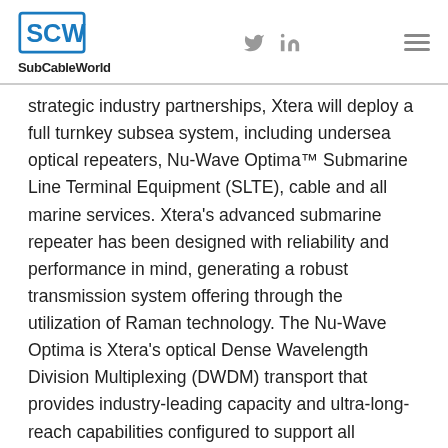SubCableWorld
strategic industry partnerships, Xtera will deploy a full turnkey subsea system, including undersea optical repeaters, Nu-Wave Optima™ Submarine Line Terminal Equipment (SLTE), cable and all marine services. Xtera's advanced submarine repeater has been designed with reliability and performance in mind, generating a robust transmission system offering through the utilization of Raman technology. The Nu-Wave Optima is Xtera's optical Dense Wavelength Division Multiplexing (DWDM) transport that provides industry-leading capacity and ultra-long-reach capabilities configured to support all networking applications.
As the second subsea system contract awarded to Xtera by DISA, and the first turnkey subsea system contract award since Xtera's recent acquisition by H.I.G. Capital, this new project represents a strong vote of confidence in Xtera's